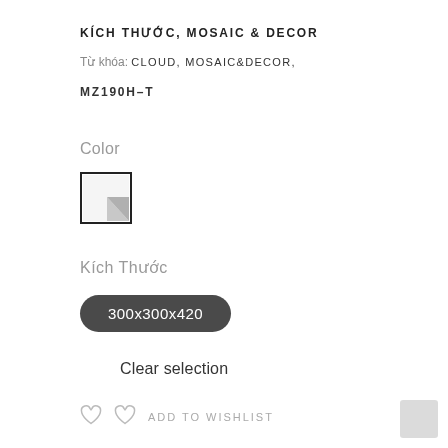KÍCH THƯỚC, MOSAIC & DECOR
Từ khóa: CLOUD, MOSAIC&DECOR, MZ190H-T
Color
[Figure (illustration): Small square color swatch with black border showing a white/light grey tile with a grey triangle in the lower right corner]
Kích Thước
300x300x420
Clear selection
ADD TO WISHLIST